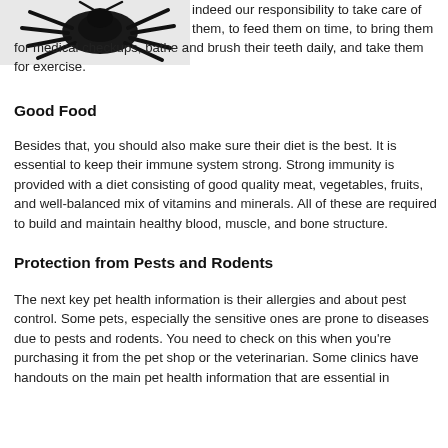[Figure (photo): Black scorpion or spider-like creature image in upper left corner]
indeed our responsibility to take care of them, to feed them on time, to bring them for medical checkups, bathe and brush their teeth daily, and take them for exercise.
Good Food
Besides that, you should also make sure their diet is the best. It is essential to keep their immune system strong. Strong immunity is provided with a diet consisting of good quality meat, vegetables, fruits, and well-balanced mix of vitamins and minerals. All of these are required to build and maintain healthy blood, muscle, and bone structure.
Protection from Pests and Rodents
The next key pet health information is their allergies and about pest control. Some pets, especially the sensitive ones are prone to diseases due to pests and rodents. You need to check on this when you're purchasing it from the pet shop or the veterinarian. Some clinics have handouts on the main pet health information that are essential in